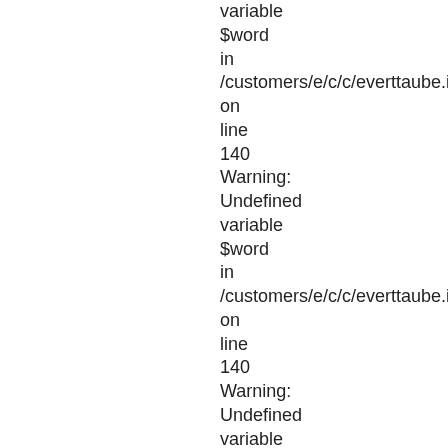variable
$word
in
/customers/e/c/c/everttaube.info/httpd.v
on
line
140
Warning:
Undefined
variable
$word
in
/customers/e/c/c/everttaube.info/httpd.v
on
line
140
Warning:
Undefined
variable
$word
in
/customers/e/c/c/everttaube.info/httpd.v
on
line
140
Warning:
Undefined
variable
$word
in